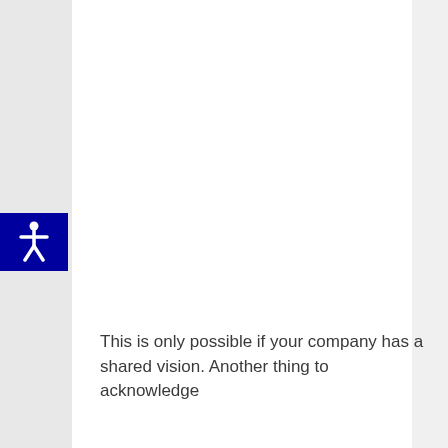[Figure (other): Accessibility button with human figure icon on dark blue background, positioned on left sidebar]
This is only possible if your company has a shared vision. Another thing to acknowledge